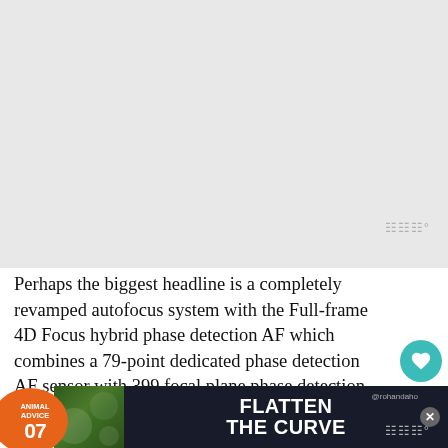[Figure (other): Gray placeholder image area at top of page]
Perhaps the biggest headline is a completely revamped autofocus system with the Full-frame 4D Focus hybrid phase detection AF which combines a 79-point dedicated phase detection AF sensor with 399 focal plane phase detection AF points to produce a 79 hybrid cross AF point array.
Sony says these cross points deliver more precise focusing and tracking of moving subjects. What's more, the new AF system
[Figure (other): Advertisement banner: Animal Advice 07 / Flatten the Curve @rohandahot with close button]